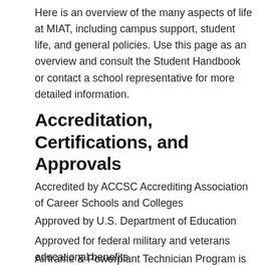Here is an overview of the many aspects of life at MIAT, including campus support, student life, and general policies. Use this page as an overview and consult the Student Handbook or contact a school representative for more detailed information.
Accreditation, Certifications, and Approvals
Accredited by ACCSC Accrediting Association of Career Schools and Colleges
Approved by U.S. Department of Education
Approved for federal military and veterans educational benefits
Airframe & Powerplant Technician Program is accredited by NCATT-National Center for Aerospace and Transportation